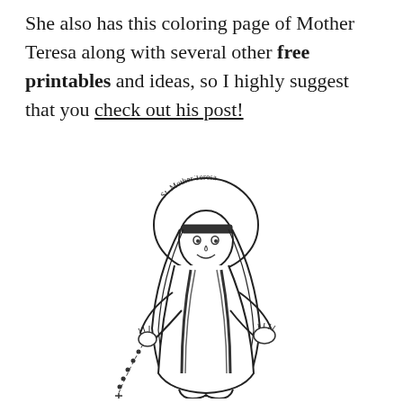She also has this coloring page of Mother Teresa along with several other free printables and ideas, so I highly suggest that you check out his post!
[Figure (illustration): A coloring page illustration of St. Mother Teresa depicted as a cartoon figure wearing a white habit with blue border stripes, holding a rosary in one hand, with a halo around her head. Text curved around the halo reads 'St. Mother Teresa'.]